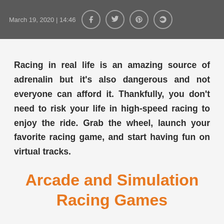March 19, 2020 | 14:46
Racing in real life is an amazing source of adrenalin but it's also dangerous and not everyone can afford it. Thankfully, you don't need to risk your life in high-speed racing to enjoy the ride. Grab the wheel, launch your favorite racing game, and start having fun on virtual tracks.
Arcade and Simulation Racing Games